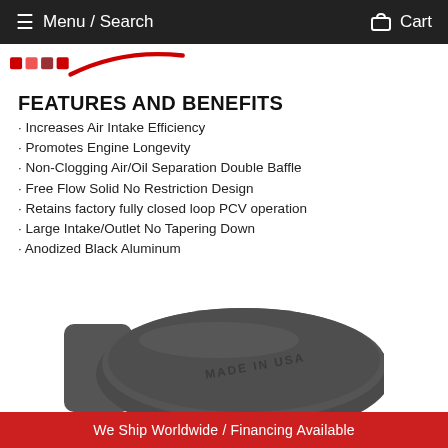Menu / Search    Cart
[Figure (logo): Brand logo strip with red swoosh and colored dots]
FEATURES AND BENEFITS
Increases Air Intake Efficiency
Promotes Engine Longevity
Non-Clogging Air/Oil Separation Double Baffle
Free Flow Solid No Restriction Design
Retains factory fully closed loop PCV operation
Large Intake/Outlet No Tapering Down
Anodized Black Aluminum
Made in the USA & Guaranteed for Life
[Figure (photo): Anodized black aluminum round product with MADE IN USA text embossed on surface]
We Ship Worldwide / Financing Available